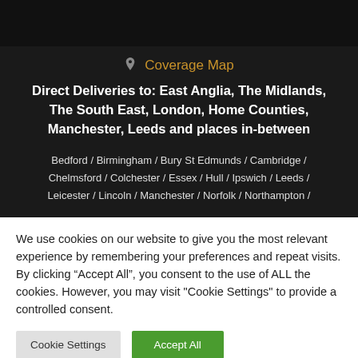[Figure (other): Dark top bar/header area of website]
Coverage Map
Direct Deliveries to: East Anglia, The Midlands, The South East, London, Home Counties, Manchester, Leeds and places in-between
Bedford / Birmingham / Bury St Edmunds / Cambridge / Chelmsford / Colchester / Essex / Hull / Ipswich / Leeds / Leicester / Lincoln / Manchester / Norfolk / Northampton /
We use cookies on our website to give you the most relevant experience by remembering your preferences and repeat visits. By clicking “Accept All”, you consent to the use of ALL the cookies. However, you may visit “Cookie Settings” to provide a controlled consent.
Cookie Settings | Accept All